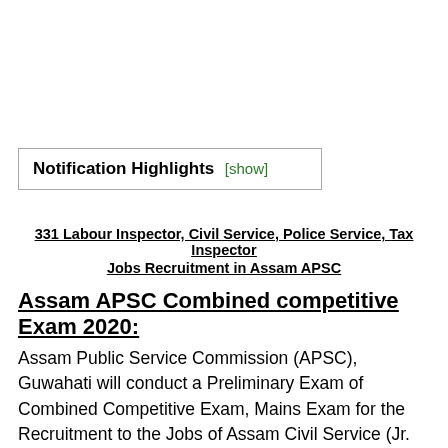Notification Highlights [show]
331 Labour Inspector, Civil Service, Police Service, Tax Inspector Jobs Recruitment in Assam APSC
Assam APSC Combined competitive Exam 2020:
Assam Public Service Commission (APSC), Guwahati will conduct a Preliminary Exam of Combined Competitive Exam, Mains Exam for the Recruitment to the Jobs of Assam Civil Service (Jr. Grade), Assam Police Service (Jr. Grade), Superintendent of Taxes, Sub Registrar, Labour